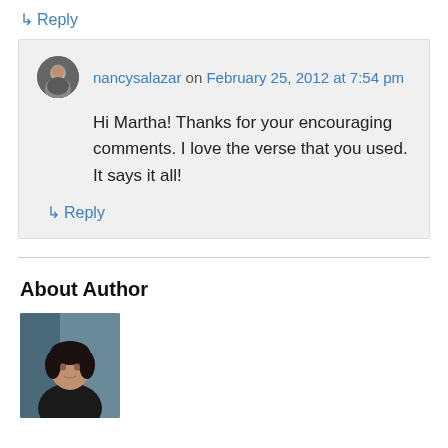↳ Reply
nancysalazar on February 25, 2012 at 7:54 pm
Hi Martha! Thanks for your encouraging comments. I love the verse that you used. It says it all!
↳ Reply
About Author
[Figure (photo): Portrait photo of a woman with dark hair against a blue-gray background, wearing a dark jacket]